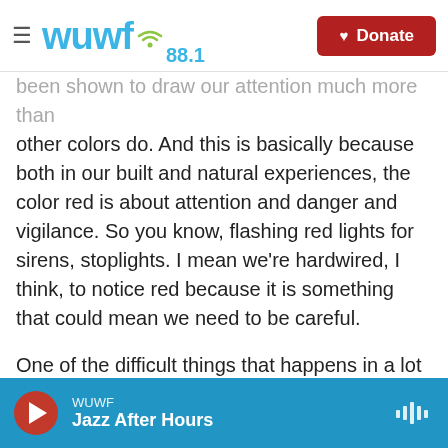WUWF 88.1 | Donate
been shown to draw our attention much more than other colors do. And this is basically because both in our built and natural experiences, the color red is about attention and danger and vigilance. So you know, flashing red lights for sirens, stoplights. I mean we're hardwired, I think, to notice red because it is something that could mean we need to be careful.
One of the difficult things that happens in a lot of these parties — it doesn't have to be the Super Bowl — where you're serving hors d'oeuvre and so forth is we're highly distracted by the conversation and whatever else is going on, and we're not paying
WUWF | Jazz After Hours